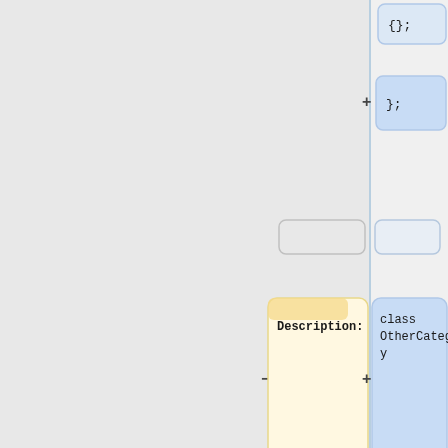[Figure (flowchart): A diff/comparison diagram showing two columns: left column has description boxes (yellow with tan header tabs) labeled 'Description:' and 'Returns side name', right column has code blocks (blue background) showing code snippets: '{}; ', '};', blank boxes, 'class OtherCategory', '{', and '''file''' = "
{{Color|darkorange|My}}\
{{Color|darkorange|Categ'. Plus and minus operator symbols appear between elements.]